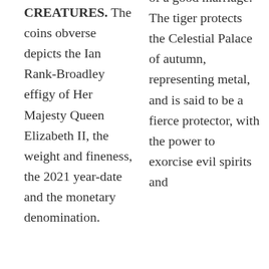MYTHICAL CREATURES. The coins obverse depicts the Ian Rank-Broadley effigy of Her Majesty Queen Elizabeth II, the weight and fineness, the 2021 year-date and the monetary denomination.
wealth and a symbol of a good marriage. The tiger protects the Celestial Palace of autumn, representing metal, and is said to be a fierce protector, with the power to exorcise evil spirits and